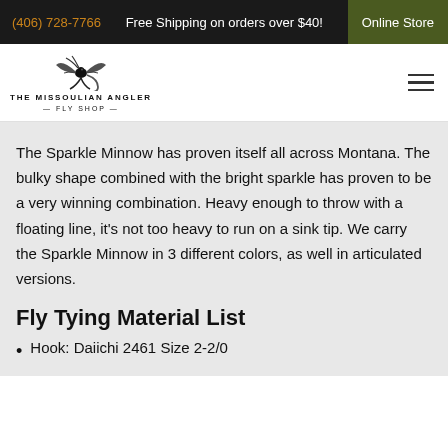(406) 728-7766  Free Shipping on orders over $40!  Online Store
[Figure (logo): The Missoulian Angler Fly Shop logo with fly fishing lure illustration]
The Sparkle Minnow has proven itself all across Montana. The bulky shape combined with the bright sparkle has proven to be a very winning combination. Heavy enough to throw with a floating line, it’s not too heavy to run on a sink tip. We carry the Sparkle Minnow in 3 different colors, as well in articulated versions.
Fly Tying Material List
Hook:  Daiichi 2461 Size 2-2/0